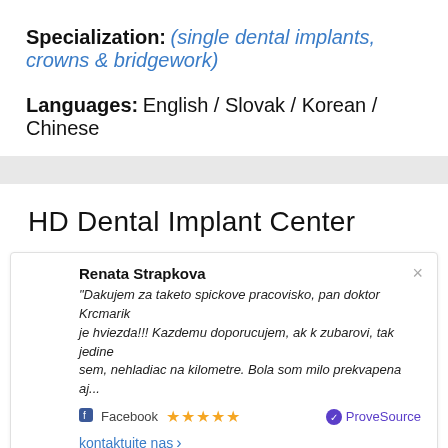Specialization: (single dental implants, crowns & bridgework)
Languages: English / Slovak / Korean / Chinese
HD Dental Implant Center
Renata Strapkova
"Dakujem za taketo spickove pracovisko, pan doktor Krcmarik je hviezda!!! Kazdemu doporucujem, ak k zubarovi, tak jedine sem, nehladiac na kilometre. Bola som milo prekvapena aj...
Facebook ★★★★★ ProveSource
kontaktujte nas >